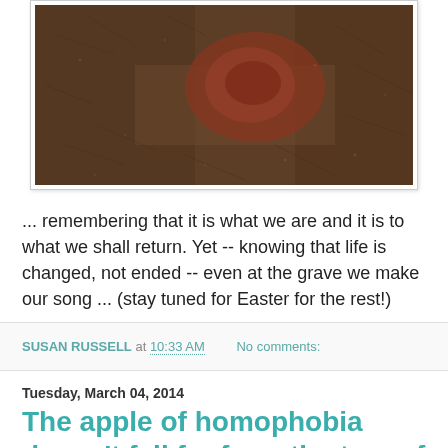[Figure (photo): Close-up macro photograph of brown fur or soil texture with a reddish-brown patch in the center]
... remembering that it is what we are and it is to what we shall return. Yet -- knowing that life is changed, not ended -- even at the grave we make our song ... (stay tuned for Easter for the rest!)
SUSAN RUSSELL at 10:33 AM   No comments:
Tuesday, March 04, 2014
The apple of homophobia doesn't fall far from the tree of patriarchy